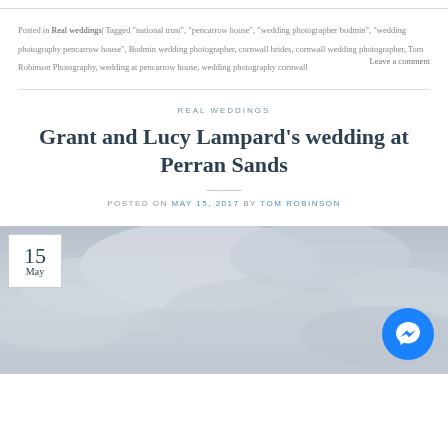Posted in Real weddings| Tagged "national trust", "pencarrow house", "wedding photographer bodmin", "wedding photography pencarrow house", Bodmin wedding photographer, cornwall brides, cornwall wedding photographer, Tom Robinson Photography, wedding at pencarrow house, wedding photography cornwall   Leave a comment
REAL WEDDINGS
Grant and Lucy Lampard's wedding at Perran Sands
POSTED ON MAY 15, 2017 BY TOM ROBINSON
[Figure (photo): Overcast sky with clouds, grey tones. Date badge showing '15 May' in bottom-left corner. Facebook Messenger button in bottom-right corner.]